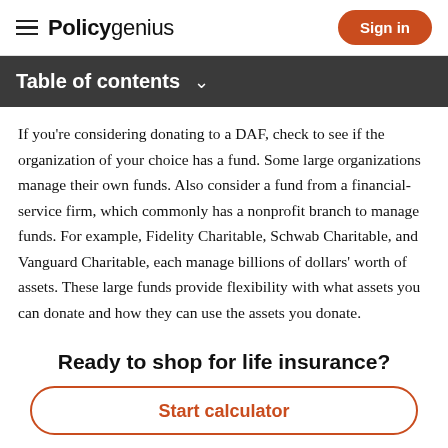Policygenius | Sign in
Table of contents
If you're considering donating to a DAF, check to see if the organization of your choice has a fund. Some large organizations manage their own funds. Also consider a fund from a financial-service firm, which commonly has a nonprofit branch to manage funds. For example, Fidelity Charitable, Schwab Charitable, and Vanguard Charitable, each manage billions of dollars' worth of assets. These large funds provide flexibility with what assets you can donate and how they can use the assets you donate.
Ready to shop for life insurance?
Start calculator